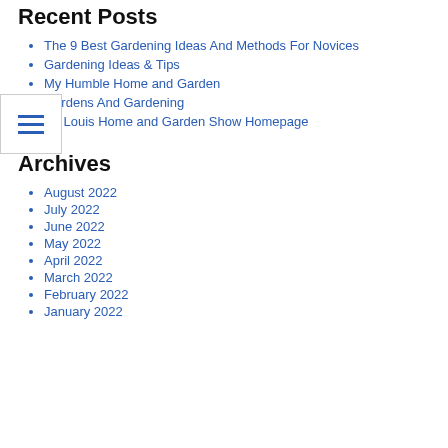Recent Posts
The 9 Best Gardening Ideas And Methods For Novices
Gardening Ideas & Tips
My Humble Home and Garden
Gardens And Gardening
St. Louis Home and Garden Show Homepage
Archives
August 2022
July 2022
June 2022
May 2022
April 2022
March 2022
February 2022
January 2022